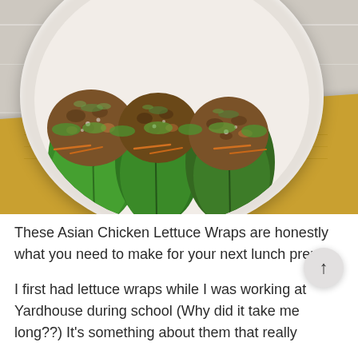[Figure (photo): Overhead photo of Asian Chicken Lettuce Wraps served in a white bowl on a yellow/mustard napkin against a whitewashed wood surface. Three lettuce cups filled with seasoned ground chicken, shredded carrots, green onions, and sesame seeds.]
These Asian Chicken Lettuce Wraps are honestly what you need to make for your next lunch prep.
I first had lettuce wraps while I was working at Yardhouse during school (Why did it take me long??) It's something about them that really